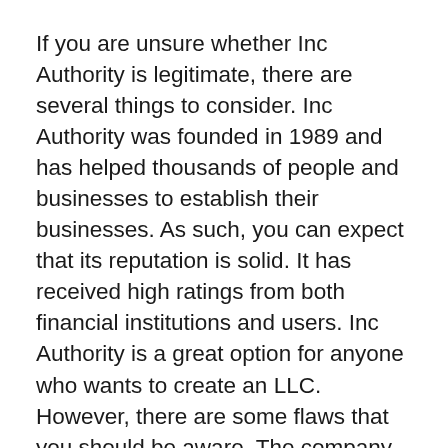If you are unsure whether Inc Authority is legitimate, there are several things to consider. Inc Authority was founded in 1989 and has helped thousands of people and businesses to establish their businesses. As such, you can expect that its reputation is solid. It has received high ratings from both financial institutions and users. Inc Authority is a great option for anyone who wants to create an LLC. However, there are some flaws that you should be aware. The company offers incorporation services for free, but has many upsells.
Inc Authority’s free LLC formation option is a major advantage. A registered agent service is also available for free. The company has